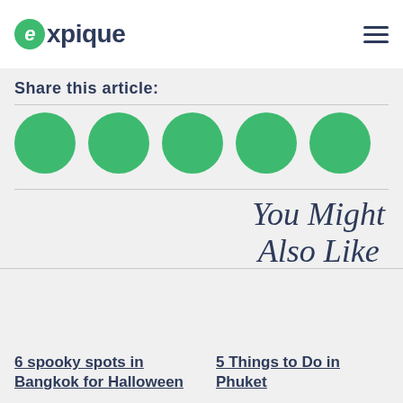expique
Share this article:
[Figure (other): Five green social share circle icons in a row]
You Might Also Like
6 spooky spots in Bangkok for Halloween
5 Things to Do in Phuket